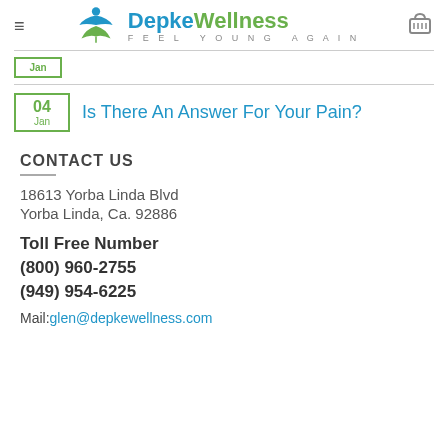Depke Wellness — Feel Young Again (navigation header with logo)
Jan (date box, top partial)
04 Jan — Is There An Answer For Your Pain?
CONTACT US
18613 Yorba Linda Blvd
Yorba Linda, Ca. 92886
Toll Free Number
(800) 960-2755
(949) 954-6225
Mail:glen@depkewellness.com